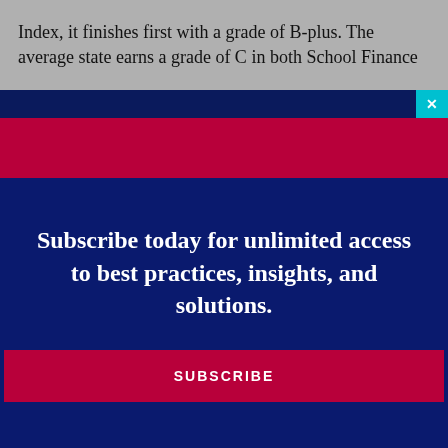Index, it finishes first with a grade of B-plus. The average state earns a grade of C in both School Finance
1 Free Article(s) Left
Create a free account to get more features and free newsletters. SUBSCRIBE FOR UNLIMITED ACCESS
collapse
Subscribe today for unlimited access to best practices, insights, and solutions.
SUBSCRIBE